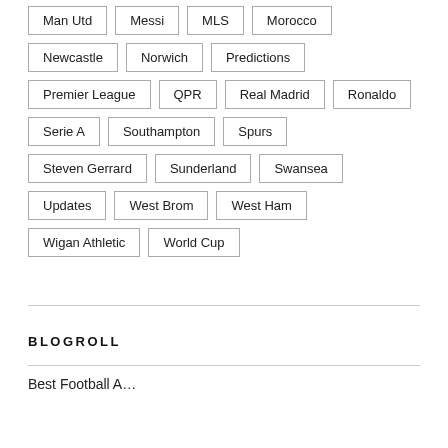Man Utd
Messi
MLS
Morocco
Newcastle
Norwich
Predictions
Premier League
QPR
Real Madrid
Ronaldo
Serie A
Southampton
Spurs
Steven Gerrard
Sunderland
Swansea
Updates
West Brom
West Ham
Wigan Athletic
World Cup
BLOGROLL
Best Football A…